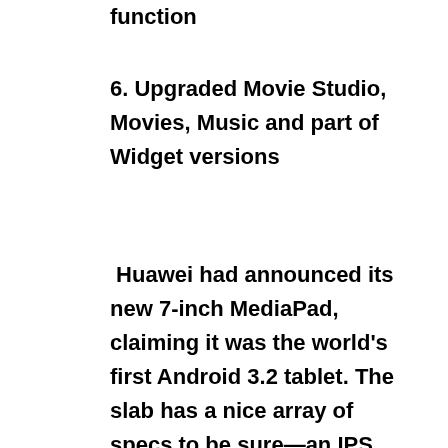function
6. Upgraded Movie Studio, Movies, Music and part of Widget versions
Huawei had announced its new 7-inch MediaPad, claiming it was the world's first Android 3.2 tablet. The slab has a nice array of specs to be sure—an IPS display, dual-core 1.2GHz Qualcomm processor, and 1.3/5 megapixel cams—but